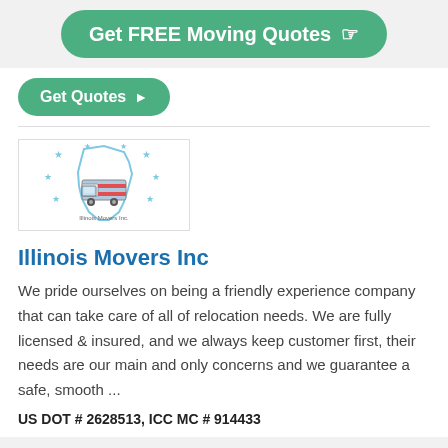[Figure (infographic): Green pill-shaped button with white bold text 'Get FREE Moving Quotes' and a pointing hand icon on the right, on a light grey background]
[Figure (infographic): Smaller green pill-shaped button with white text 'Get Quotes' and a right-pointing triangle/arrow]
[Figure (logo): Illinois Movers Inc company logo in a bordered rectangle — features a stylized map of Illinois with a truck and stars]
Illinois Movers Inc
We pride ourselves on being a friendly experience company that can take care of all of relocation needs. We are fully licensed & insured, and we always keep customer first, their needs are our main and only concerns and we guarantee a safe, smooth ...
US DOT # 2628513, ICC MC # 914433